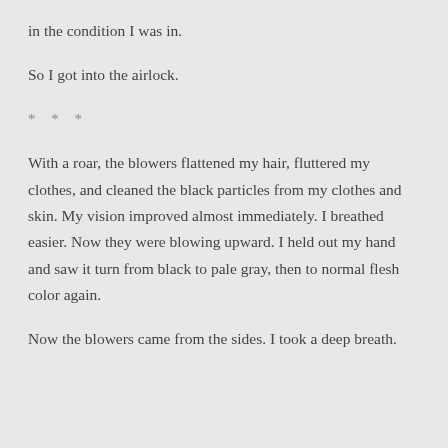in the condition I was in.
So I got into the airlock.
* * *
With a roar, the blowers flattened my hair, fluttered my clothes, and cleaned the black particles from my clothes and skin. My vision improved almost immediately. I breathed easier. Now they were blowing upward. I held out my hand and saw it turn from black to pale gray, then to normal flesh color again.
Now the blowers came from the sides. I took a deep breath.